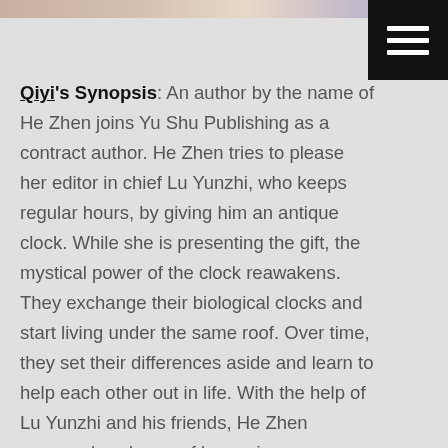[Figure (photo): Top cropped portion of a photo showing people, partially visible at the top of the page]
Qiyi's Synopsis: An author by the name of He Zhen joins Yu Shu Publishing as a contract author. He Zhen tries to please her editor in chief Lu Yunzhi, who keeps regular hours, by giving him an antique clock. While she is presenting the gift, the mystical power of the clock reawakens. They exchange their biological clocks and start living under the same roof. Over time, they set their differences aside and learn to help each other out in life. With the help of Lu Yunzhi and his friends, He Zhen pursues her dream of becoming an accomplished author. The companionship with He Zhen also helps Lu Yunzhi make peace with his past. In the end, they both find success in their career and love their life.